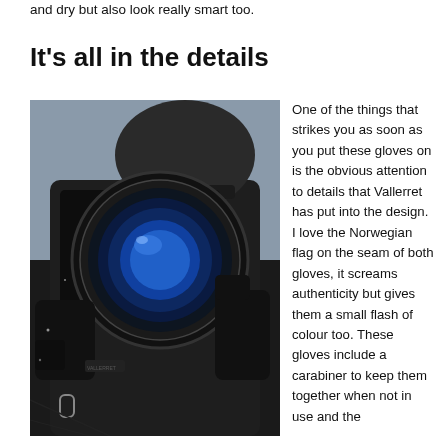and dry but also look really smart too.
It's all in the details
[Figure (photo): Person holding a camera up to their face, wearing black photography gloves. The camera lens is prominently visible. The person is wearing a dark jacket and cap, shot from a low angle.]
One of the things that strikes you as soon as you put these gloves on is the obvious attention to details that Vallerret has put into the design. I love the Norwegian flag on the seam of both gloves, it screams authenticity but gives them a small flash of colour too. These gloves include a carabiner to keep them together when not in use and the